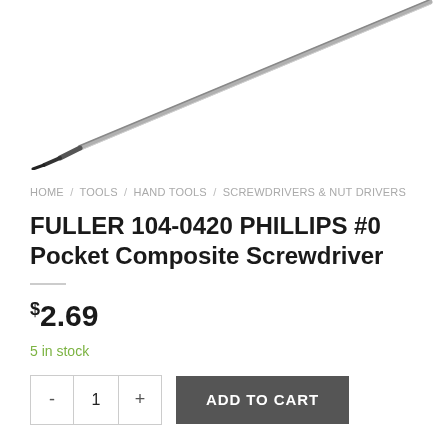[Figure (photo): A Phillips screwdriver with a thin metal shaft and black tip, shown diagonally against a white background. Only the lower/middle portion of the screwdriver is visible, pointing from upper-right to lower-left.]
HOME / TOOLS / HAND TOOLS / SCREWDRIVERS & NUT DRIVERS
FULLER 104-0420 PHILLIPS #0 Pocket Composite Screwdriver
$2.69
5 in stock
- 1 + ADD TO CART